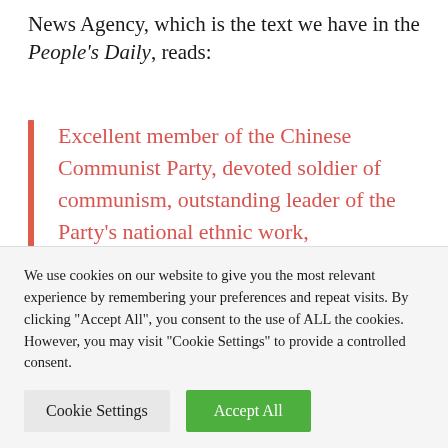News Agency, which is the text we have in the People's Daily, reads:
Excellent member of the Chinese Communist Party, devoted soldier of communism, outstanding leader of the Party's national ethnic work, distinguished son of the Uighur people, deputy chairman of the 8th and 9th
We use cookies on our website to give you the most relevant experience by remembering your preferences and repeat visits. By clicking "Accept All", you consent to the use of ALL the cookies. However, you may visit "Cookie Settings" to provide a controlled consent.